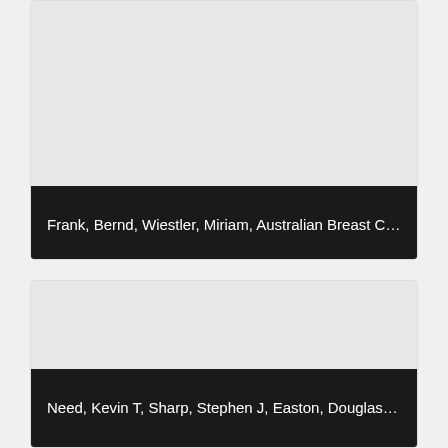[Figure (screenshot): Card with light gray image placeholder area at top]
Frank, Bernd, Wiestler, Miriam, Australian Breast Canc...
Hits: 40606   Visitors: 29521   Downloads: 0
[Figure (screenshot): Second card with light gray image placeholder area]
Need, Kevin T, Sharp, Stephen J, Easton, Douglas F...